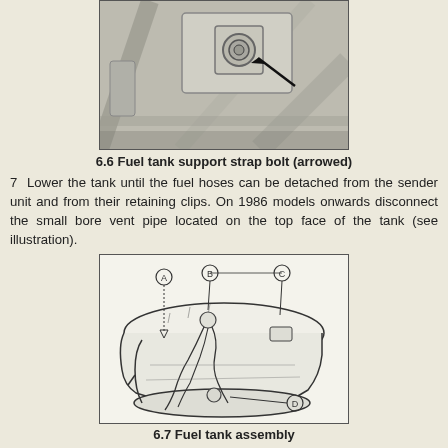[Figure (photo): Photograph of a fuel tank support strap bolt with an arrow pointing to the bolt head, showing the underside of a vehicle chassis area.]
6.6 Fuel tank support strap bolt (arrowed)
7  Lower the tank until the fuel hoses can be detached from the sender unit and from their retaining clips. On 1986 models onwards disconnect the small bore vent pipe located on the top face of the tank (see illustration).
[Figure (engineering-diagram): Technical line drawing of a fuel tank assembly with labeled parts A, B, C, D showing the tank body, hoses, sender unit, and vent pipe connections.]
6.7 Fuel tank assembly